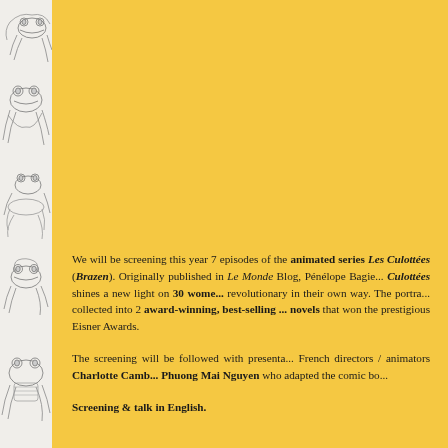[Figure (illustration): Left sidebar with gray/white background containing hand-drawn illustrations of frogs and small creatures in various poses, stacked vertically]
We will be screening this year 7 episodes of the animated series Les Culottées (Brazen). Originally published in Le Monde Blog, Pénélope Bagieu's Les Culottées shines a new light on 30 women who were revolutionary in their own way. The portraits were collected into 2 award-winning, best-selling graphic novels that won the prestigious Eisner Awards.
The screening will be followed with presentations by French directors / animators Charlotte Camb... and Phuong Mai Nguyen who adapted the comic bo...
Screening & talk in English.